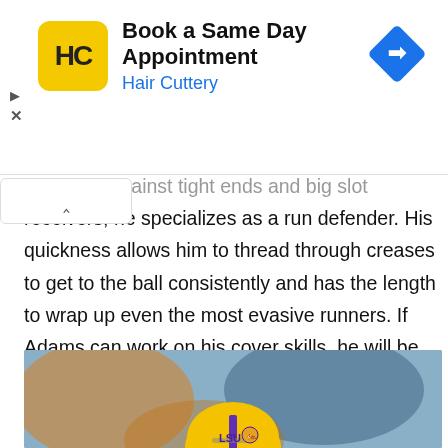[Figure (other): Hair Cuttery advertisement banner: yellow square logo with HC text, title 'Book a Same Day Appointment', subtitle 'Hair Cuttery' in blue, blue diamond directional arrow icon on right]
coverage against tight ends and big slot receivers, he specializes as a run defender. His quickness allows him to thread through creases to get to the ball consistently and has the length to wrap up even the most evasive runners. If Adams can work on his cover skills, he will be an immediate contributor to a woeful Jets defense.
[Figure (photo): Bottom portion of a photo showing a football player wearing an LSU gold helmet, with blurred orange and blue background suggesting a game or practice setting.]